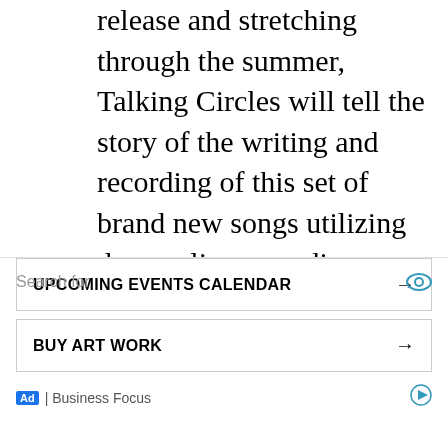release and stretching through the summer, Talking Circles will tell the story of the writing and recording of this set of brand new songs utilizing demos, live recordings, alternate takes, mix stems, and interviews with all six band members. Five episodes are currently live, including the backstory of “New Wings,” right here.
Finally, Umphrey’s McGee continues with their tour this week in Colorado. The band will be at the Dillon Amphitheater on June 16th, at
[Figure (screenshot): Ad overlay with search bar showing 'Search for' text with eye icon, two clickable buttons labeled 'UPCOMING EVENTS CALENDAR' and 'BUY ART WORK' each with a right arrow, and a footer showing 'Ad | Business Focus' with a play icon.]